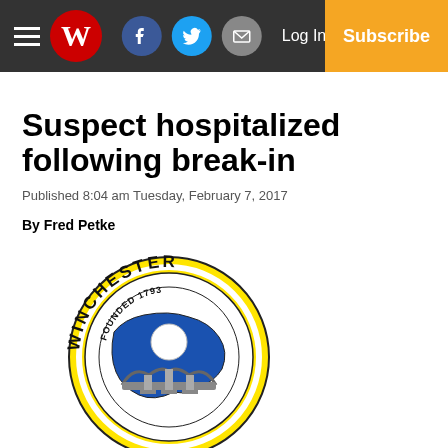Winchester Star newspaper navigation bar with hamburger menu, logo, social icons (Facebook, Twitter, Email), Log In, Subscribe
Suspect hospitalized following break-in
Published 8:04 am Tuesday, February 7, 2017
By Fred Petke
[Figure (logo): City of Winchester seal / logo: circular badge with yellow background, text 'WINCHESTER' around the top, 'FOUNDED 1793' in inner ring, blue map shape with white circle and bridge/arch structure in center]